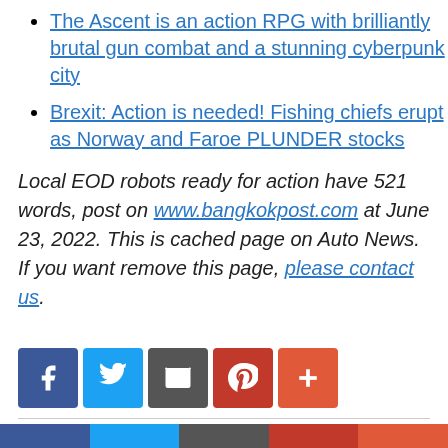The Ascent is an action RPG with brilliantly brutal gun combat and a stunning cyberpunk city
Brexit: Action is needed! Fishing chiefs erupt as Norway and Faroe PLUNDER stocks
Local EOD robots ready for action have 521 words, post on www.bangkokpost.com at June 23, 2022. This is cached page on Auto News. If you want remove this page, please contact us.
[Figure (infographic): Social share buttons row: Facebook (blue), Twitter (light blue), Email/share (dark gray), Pinterest (red), Plus/more (coral red)]
[Figure (infographic): Bottom social share bar: Facebook (dark blue), Twitter (light blue), Email (dark gray), Pinterest (red), Plus/more (coral)]